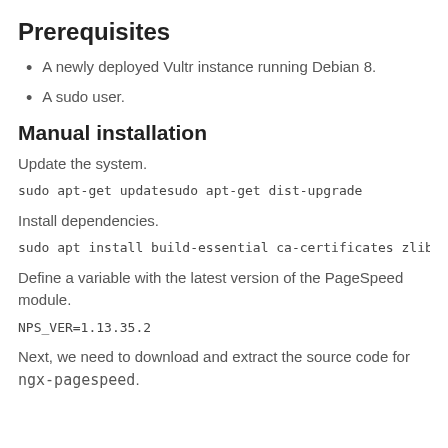Prerequisites
A newly deployed Vultr instance running Debian 8.
A sudo user.
Manual installation
Update the system.
sudo apt-get updatesudo apt-get dist-upgrade
Install dependencies.
sudo apt install build-essential ca-certificates zlib1g-d
Define a variable with the latest version of the PageSpeed module.
NPS_VER=1.13.35.2
Next, we need to download and extract the source code for ngx-pagespeed.